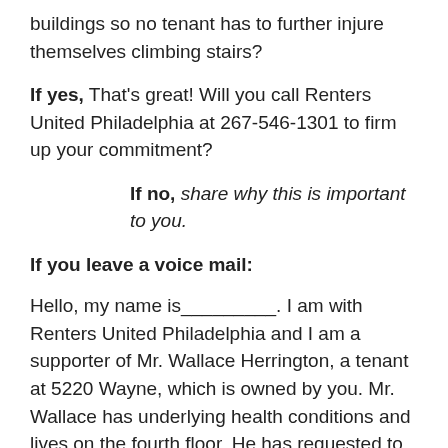buildings so no tenant has to further injure themselves climbing stairs?
If yes, That's great! Will you call Renters United Philadelphia at 267-546-1301 to firm up your commitment?
If no, share why this is important to you.
If you leave a voice mail:
Hello, my name is_________. I am with Renters United Philadelphia and I am a supporter of Mr. Wallace Herrington, a tenant at 5220 Wayne, which is owned by you. Mr. Wallace has underlying health conditions and lives on the fourth floor. He has requested to move to the first floor yet your staff has refused to relocate him. I am calling to demand that you move Mr. Wallace to a